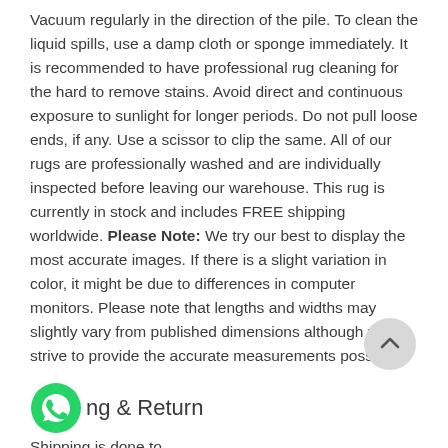Vacuum regularly in the direction of the pile. To clean the liquid spills, use a damp cloth or sponge immediately. It is recommended to have professional rug cleaning for the hard to remove stains. Avoid direct and continuous exposure to sunlight for longer periods. Do not pull loose ends, if any. Use a scissor to clip the same. All of our rugs are professionally washed and are individually inspected before leaving our warehouse. This rug is currently in stock and includes FREE shipping worldwide. Please Note: We try our best to display the most accurate images. If there is a slight variation in color, it might be due to differences in computer monitors. Please note that lengths and widths may slightly vary from published dimensions although we strive to provide the accurate measurements possible.
[Figure (other): A round grey scroll-to-top button with an upward chevron arrow icon]
Shipping & Return
Shipping is done to...